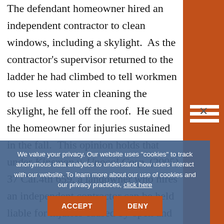The defendant homeowner hired an independent contractor to clean windows, including a skylight. As the contractor's supervisor returned to the ladder he had climbed to tell workmen to use less water in cleaning the skylight, he fell off the roof. He sued the homeowner for injuries sustained in the fall. This opinion holds that under Kinsman v. Unocal Corp. (2005) 37 Cal.4th 659, a landowner who hires an independent contractor can be held liable for injuries caused by open and obvious hazardous conditions of the property if the independent contractor cannot cure by taking reasonable safety precautions. Here, the obvious hazard of the roof — whether the obvious hazard of the edge of the roof from which plaintiff fell could reasonably be avoided eliminate the question of fact of whether the obvious hazard of the edge of the roof from which plaintiff fell could reasonably be avoided
We value your privacy. Our website uses "cookies" to track anonymous data analytics to understand how users interact with our website. To learn more about our use of cookies and our privacy practices, click here